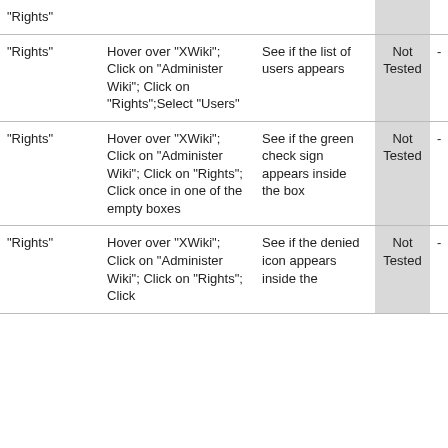|  |  |  | Status |  |
| --- | --- | --- | --- | --- |
| "Rights" |  |  |  |  |
| "Rights" | Hover over "XWiki"; Click on "Administer Wiki"; Click on "Rights";Select "Users" | See if the list of users appears | Not Tested | - |
| "Rights" | Hover over "XWiki"; Click on "Administer Wiki"; Click on "Rights"; Click once in one of the empty boxes | See if the green check sign appears inside the box | Not Tested | - |
| "Rights" | Hover over "XWiki"; Click on "Administer Wiki"; Click on "Rights"; Click | See if the denied icon appears inside the | Not Tested | - |